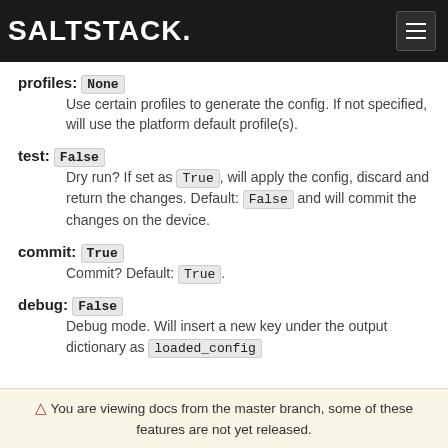SALTSTACK
profiles: None — Use certain profiles to generate the config. If not specified, will use the platform default profile(s).
test: False — Dry run? If set as True, will apply the config, discard and return the changes. Default: False and will commit the changes on the device.
commit: True — Commit? Default: True.
debug: False — Debug mode. Will insert a new key under the output dictionary as loaded_config
⚠ You are viewing docs from the master branch, some of these features are not yet released.